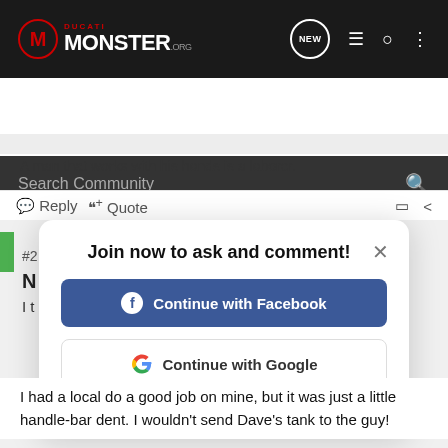[Figure (screenshot): DucatiMonster.org website navigation bar with logo, NEW chat bubble icon, list icon, user icon, and more icon]
[Figure (screenshot): Search Community search bar on dark background]
A man that works with his hands is a laborer.
Reply  Quote
Join now to ask and comment!
Continue with Facebook
Continue with Google
or sign up with email
I had a local do a good job on mine, but it was just a little handle-bar dent. I wouldn't send Dave's tank to the guy!